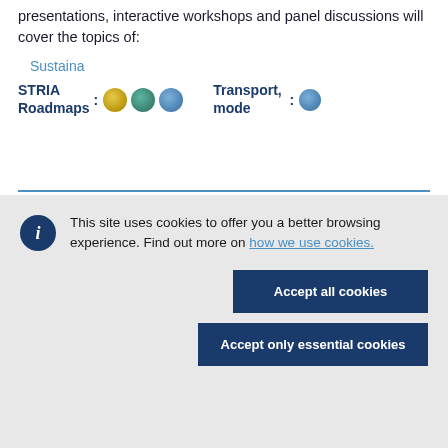presentations, interactive workshops and panel discussions will cover the topics of:
Sustaina
STRIA Roadmaps: [icons] Transport mode: [icon]
This site uses cookies to offer you a better browsing experience. Find out more on how we use cookies.
Accept all cookies
Accept only essential cookies